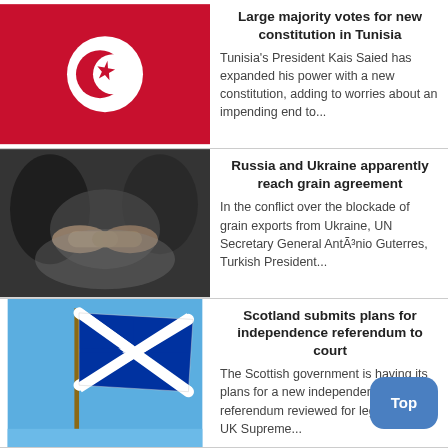[Figure (photo): Tunisian flag with red background, white crescent and star]
Large majority votes for new constitution in Tunisia
Tunisia's President Kais Saied has expanded his power with a new constitution, adding to worries about an impending end to...
[Figure (photo): People shaking hands at a meeting, blurred background, black and white tones]
Russia and Ukraine apparently reach grain agreement
In the conflict over the blockade of grain exports from Ukraine, UN Secretary General AntÃ³nio Guterres, Turkish President...
[Figure (photo): Scotland flag (Saltire, white X on blue background) waving on flagpole against blue sky]
Scotland submits plans for independence referendum to court
The Scottish government is having its plans for a new independence referendum reviewed for legality by the UK Supreme...